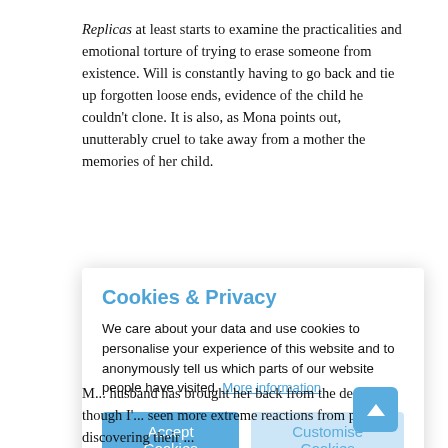Replicas at least starts to examine the practicalities and emotional torture of trying to erase someone from existence. Will is constantly having to go back and tie up forgotten loose ends, evidence of the child he couldn't clone. It is also, as Mona points out, unutterably cruel to take away from a mother the memories of her child.
C... s... s... w... s... m... i...
[Figure (screenshot): Cookies & Privacy modal dialog overlay. Title: 'Cookies & Privacy' in blue. Body text: 'We care about your data and use cookies to personalise your experience of this website and to anonymously tell us which parts of our website people have visited. More information'. Two buttons: 'Accept Cookies' (blue) and 'Customise Cookies' (light blue).]
M... husband has brought her back from the dead, though I'... seen more extreme reactions from people discovering their ...